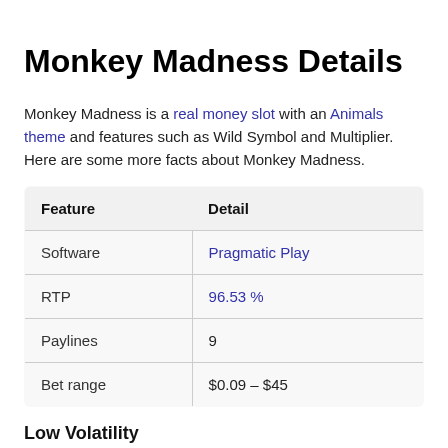Monkey Madness Details
Monkey Madness is a real money slot with an Animals theme and features such as Wild Symbol and Multiplier. Here are some more facts about Monkey Madness.
| Feature | Detail |
| --- | --- |
| Software | Pragmatic Play |
| RTP | 96.53 % |
| Paylines | 9 |
| Bet range | $0.09 – $45 |
Low Volatility
[Figure (other): Horizontal progress bar showing Low Volatility level, approximately 30% filled in yellow/gold color on a light grey background.]